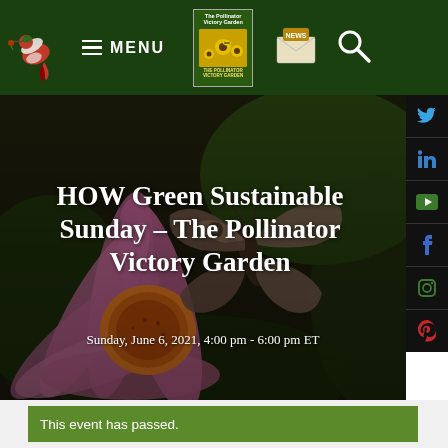MENU
[Figure (screenshot): Website header with dark green background, hummingbird logo, MENU button with hamburger icon, book cover for 'The Pollinator Victory Garden', news envelope icon, search magnifying glass icon]
HOW Green Sustainable Sunday – The Pollinator Victory Garden
Sunday, June 6, 2021, 4:00 pm - 6:00 pm ET
[Figure (photo): Close-up photograph of a butterfly on a purple coneflower/echinacea bloom with orange center, dark bokeh background with green foliage]
This event has passed.